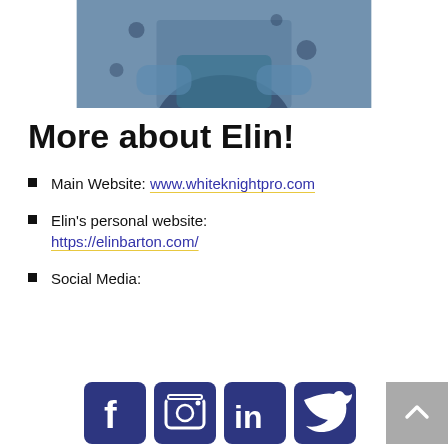[Figure (photo): Partial photo of a person (Elin) with arms crossed, wearing a blue top and dark floral jacket, cropped at the top of the page]
More about Elin!
Main Website: www.whiteknightpro.com
Elin's personal website: https://elinbarton.com/
Social Media:
[Figure (illustration): Social media icons: Facebook, Instagram, LinkedIn, Twitter (dark blue rounded square icons)]